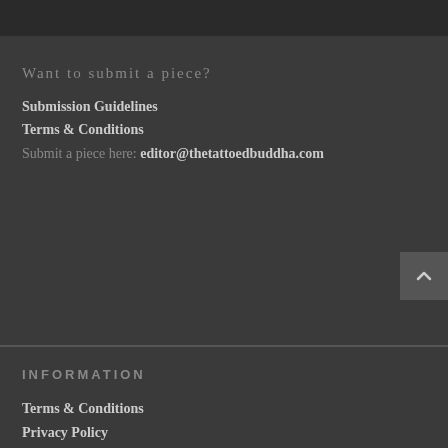Want to submit a piece?
Submission Guidelines
Terms & Conditions
Submit a piece here: editor@thetattoedbuddha.com
INFORMATION
Terms & Conditions
Privacy Policy
Submission Guidelines